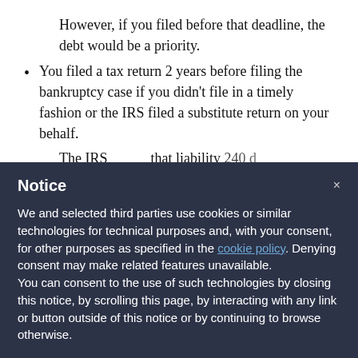However, if you filed before that deadline, the debt would be a priority.
You filed a tax return 2 years before filing the bankruptcy case if you didn't file in a timely fashion or the IRS filed a substitute return on your behalf.
The IRS assessed that liability 240 d…
Notice
We and selected third parties use cookies or similar technologies for technical purposes and, with your consent, for other purposes as specified in the cookie policy. Denying consent may make related features unavailable.
You can consent to the use of such technologies by closing this notice, by scrolling this page, by interacting with any link or button outside of this notice or by continuing to browse otherwise.